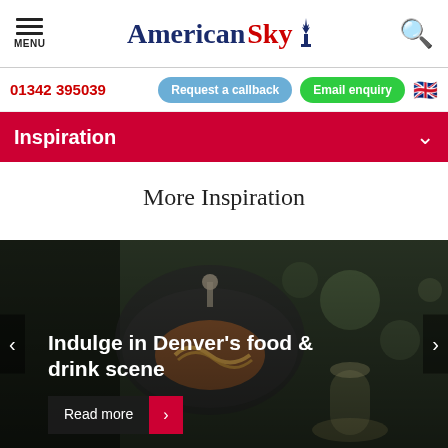MENU | American Sky | Search
01342 395039 | Request a callback | Email enquiry
Inspiration
More Inspiration
[Figure (photo): A person holding a dish with food under a cloche/dome, and a glass of white wine being poured in the background, representing Denver's food and drink scene. Text overlay reads: Indulge in Denver's food & drink scene. Read more button visible.]